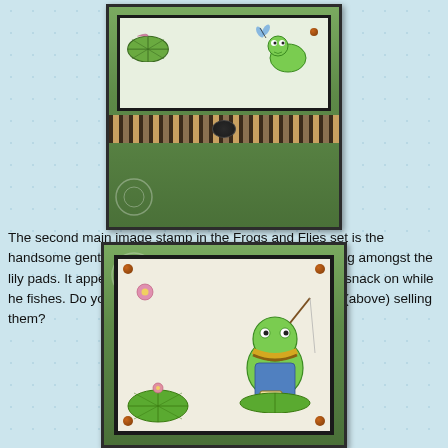[Figure (photo): Handmade greeting card with green striped paper background, a framed image of frogs and lily pads at the top, decorated with a striped ribbon bow in the center]
The second main image stamp in the Frogs and Flies set is the handsome gentleman frog doing some fishing while sitting amongst the lily pads. It appears he's enjoying some "pickled flies" to snack on while he fishes. Do you think he bought the flies from the lady (above) selling them?
[Figure (photo): Handmade greeting card showing a frog sitting on a lily pad fishing, with a jar of pickled flies, surrounded by lily pads and water flowers, mounted on green patterned paper with brown brads at corners]